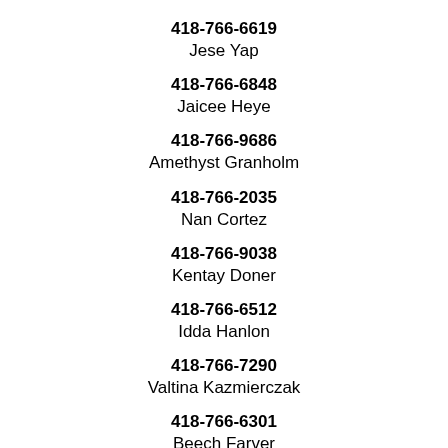418-766-6619
Jese Yap
418-766-6848
Jaicee Heye
418-766-9686
Amethyst Granholm
418-766-2035
Nan Cortez
418-766-9038
Kentay Doner
418-766-6512
Idda Hanlon
418-766-7290
Valtina Kazmierczak
418-766-6301
Beech Farver
418-766-6536